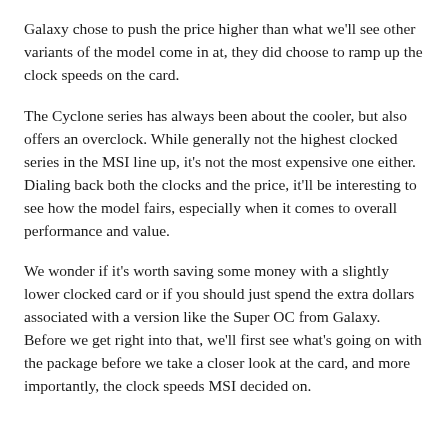Galaxy chose to push the price higher than what we'll see other variants of the model come in at, they did choose to ramp up the clock speeds on the card.
The Cyclone series has always been about the cooler, but also offers an overclock. While generally not the highest clocked series in the MSI line up, it's not the most expensive one either. Dialing back both the clocks and the price, it'll be interesting to see how the model fairs, especially when it comes to overall performance and value.
We wonder if it's worth saving some money with a slightly lower clocked card or if you should just spend the extra dollars associated with a version like the Super OC from Galaxy. Before we get right into that, we'll first see what's going on with the package before we take a closer look at the card, and more importantly, the clock speeds MSI decided on.